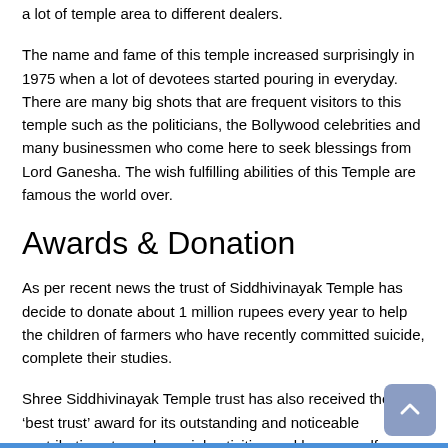a lot of temple area to different dealers.
The name and fame of this temple increased surprisingly in 1975 when a lot of devotees started pouring in everyday. There are many big shots that are frequent visitors to this temple such as the politicians, the Bollywood celebrities and many businessmen who come here to seek blessings from Lord Ganesha. The wish fulfilling abilities of this Temple are famous the world over.
Awards & Donation
As per recent news the trust of Siddhivinayak Temple has decide to donate about 1 million rupees every year to help the children of farmers who have recently committed suicide, complete their studies.
Shree Siddhivinayak Temple trust has also received the ‘best trust’ award for its outstanding and noticeable contributions towards social activities and human welfare.
The temple has its own internet site which provides the facility like